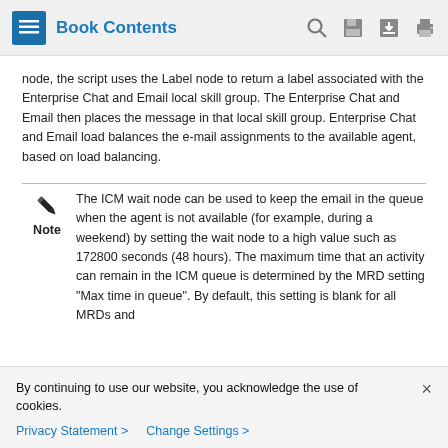Book Contents
node, the script uses the Label node to return a label associated with the Enterprise Chat and Email local skill group. The Enterprise Chat and Email then places the message in that local skill group. Enterprise Chat and Email load balances the e-mail assignments to the available agent, based on load balancing.
Note: The ICM wait node can be used to keep the email in the queue when the agent is not available (for example, during a weekend) by setting the wait node to a high value such as 172800 seconds (48 hours). The maximum time that an activity can remain in the ICM queue is determined by the MRD setting "Max time in queue". By default, this setting is blank for all MRDs and
By continuing to use our website, you acknowledge the use of cookies.
Privacy Statement > Change Settings >